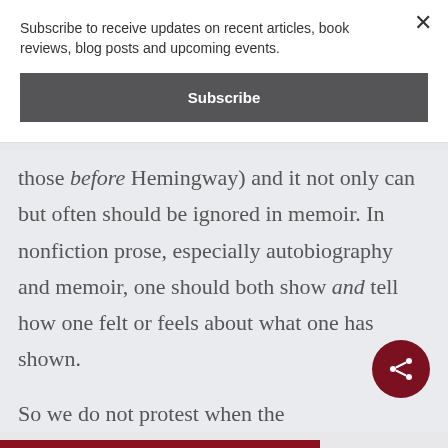Subscribe to receive updates on recent articles, book reviews, blog posts and upcoming events.
Subscribe
those before Hemingway) and it not only can but often should be ignored in memoir. In nonfiction prose, especially autobiography and memoir, one should both show and tell how one felt or feels about what one has shown.
So we do not protest when the